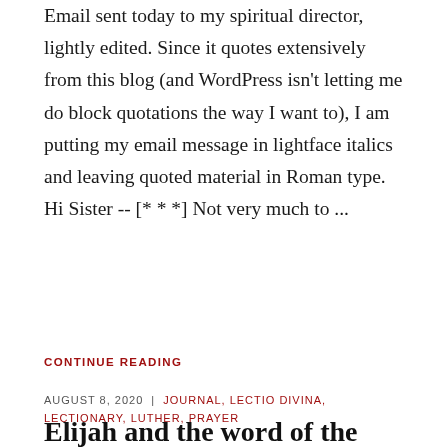Email sent today to my spiritual director, lightly edited. Since it quotes extensively from this blog (and WordPress isn't letting me do block quotations the way I want to), I am putting my email message in lightface italics and leaving quoted material in Roman type. Hi Sister -- [* * *] Not very much to ...
CONTINUE READING
AUGUST 8, 2020  |  JOURNAL, LECTIO DIVINA, LECTIONARY, LUTHER, PRAYER
Elijah and the word of the Lord: No